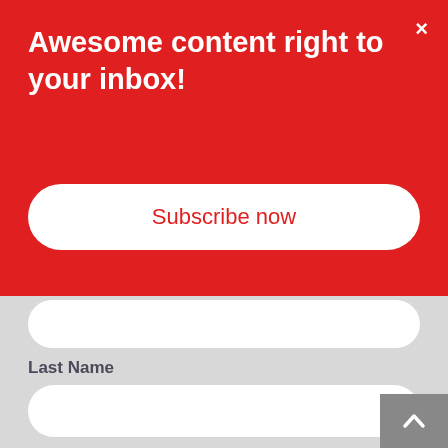Awesome content right to your inbox!
Subscribe now
Last Name
Email*
Website
Comment*